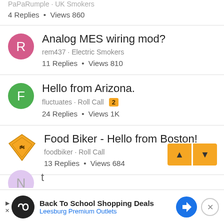PaPaRumple · UK Smokers
4 Replies · Views 860
Analog MES wiring mod?
rem437 · Electric Smokers
11 Replies · Views 810
Hello from Arizona.
fluctuates · Roll Call
24 Replies · Views 1K
Food Biker - Hello from Boston!
foodbiker · Roll Call
13 Replies · Views 684
[Figure (screenshot): Back To School Shopping Deals - Leesburg Premium Outlets advertisement banner with navigation arrows and close button]